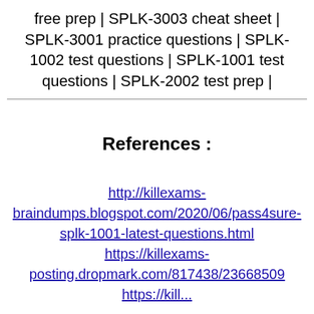free prep | SPLK-3003 cheat sheet | SPLK-3001 practice questions | SPLK-1002 test questions | SPLK-1001 test questions | SPLK-2002 test prep |
References :
http://killexams-braindumps.blogspot.com/2020/06/pass4sure-splk-1001-latest-questions.html https://killexams-posting.dropmark.com/817438/23668509 https://kill...